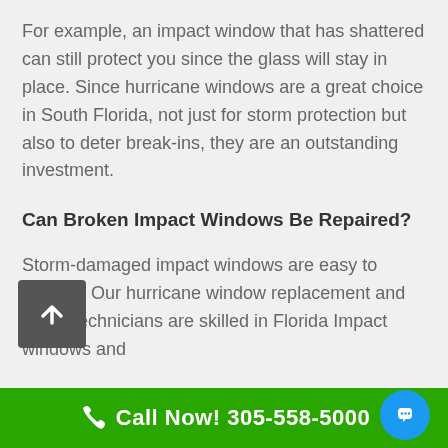For example, an impact window that has shattered can still protect you since the glass will stay in place. Since hurricane windows are a great choice in South Florida, not just for storm protection but also to deter break-ins, they are an outstanding investment.
Can Broken Impact Windows Be Repaired?
Storm-damaged impact windows are easy to replace. Our hurricane window replacement and repair technicians are skilled in Florida Impact windows and
Call Now! 305-558-5000